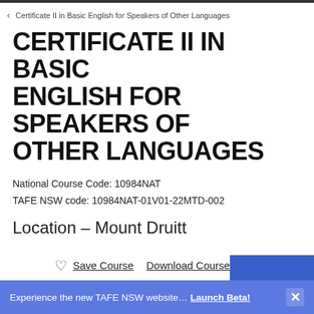< Certificate II in Basic English for Speakers of Other Languages
CERTIFICATE II IN BASIC ENGLISH FOR SPEAKERS OF OTHER LANGUAGES
National Course Code: 10984NAT
TAFE NSW code: 10984NAT-01V01-22MTD-002
Location – Mount Druitt
♡ Save Course   Download Course Brochure
Experience the new TAFE NSW website… Launch Beta! ✕